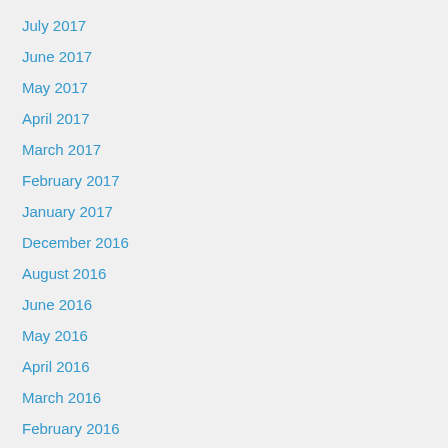July 2017
June 2017
May 2017
April 2017
March 2017
February 2017
January 2017
December 2016
August 2016
June 2016
May 2016
April 2016
March 2016
February 2016
January 2016